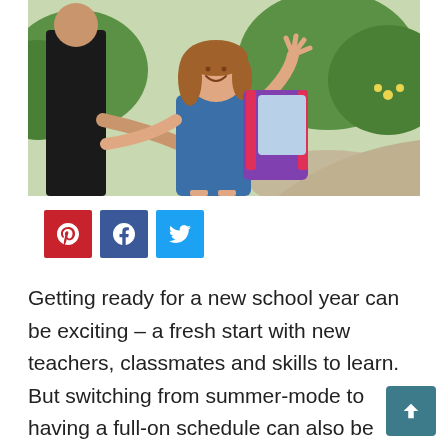[Figure (photo): A young girl with long brown hair, wearing a blue floral dress and a purple backpack with pink straps, waving and smiling while holding a woman's hand. Background shows green trees and a path. The woman is wearing a black dress.]
[Figure (infographic): Social media share buttons: Pinterest (red), Facebook (blue), Twitter (light blue)]
Getting ready for a new school year can be exciting – a fresh start with new teachers, classmates and skills to learn. But switching from summer-mode to having a full-on schedule can also be quite overwhelming